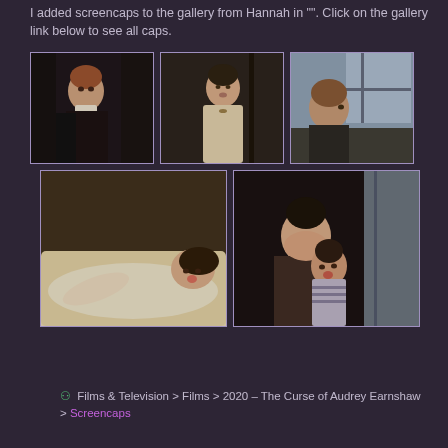I added screencaps to the gallery from Hannah in "". Click on the gallery link below to see all caps.
[Figure (screenshot): Grid of 5 movie screencaps from 'The Curse of Audrey Earnshaw' (2020). Top row: three screenshots of women in period costume and dramatic scenes. Bottom row: two screenshots showing dramatic/emotional scenes.]
🔗 Films & Television > Films > 2020 – The Curse of Audrey Earnshaw > Screencaps